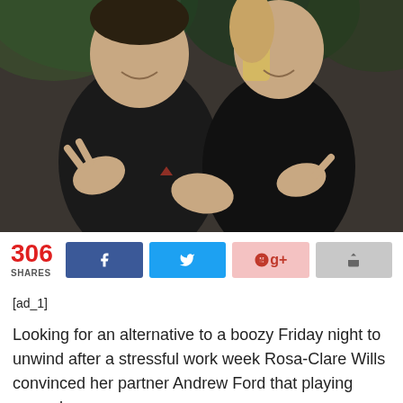[Figure (photo): Two people in black t-shirts smiling and making hand gestures, with green plants in the background]
306 SHARES
[ad_1]
Looking for an alternative to a boozy Friday night to unwind after a stressful work week Rosa-Clare Wills convinced her partner Andrew Ford that playing around